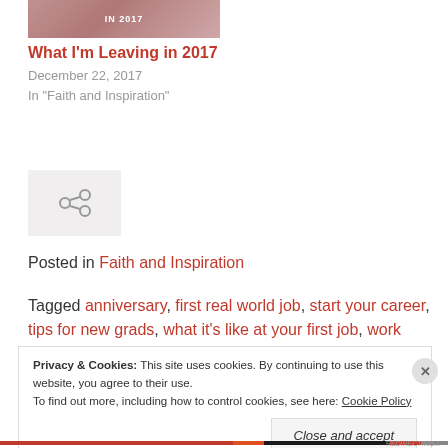[Figure (photo): Partial thumbnail image of a person with 'IN 2017' text overlay]
What I'm Leaving in 2017
December 22, 2017
In "Faith and Inspiration"
[Figure (other): Share/link icon in a light grey box]
Posted in Faith and Inspiration
Tagged anniversary, first real world job, start your career, tips for new grads, what it's like at your first job, work
Privacy & Cookies: This site uses cookies. By continuing to use this website, you agree to their use. To find out more, including how to control cookies, see here: Cookie Policy
Close and accept